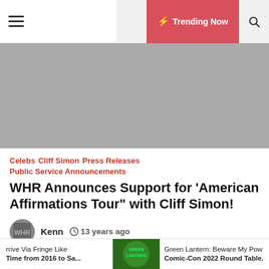≡  🌙  ⚡ Trending Now  🔍
[Figure (other): Gray advertisement banner placeholder]
Celebs  Cliff Simon  Press Releases  Public Service Announcements
WHR Announces Support for 'American Affirmations Tour" with Cliff Simon!
Kenn   🕐 13 years ago
Hey Cliff Simon , Stargate and Ba'al Clone Fans! WHR is more than proud to announce our support and participation for the
rrive Via Fringe Like Time from 2016 to Sa...  [Green Lantern image]  Green Lantern: Beware My Pow Comic-Con 2022 Round Table.